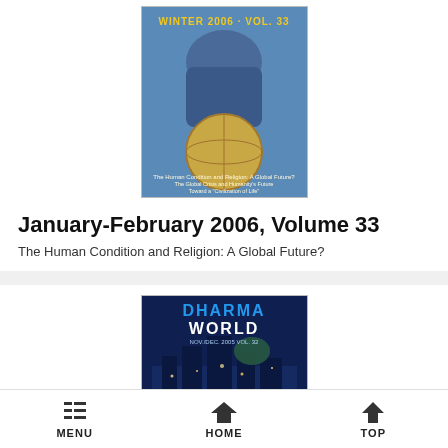[Figure (photo): Magazine cover of Dharma World, January-February 2006, Volume 33, showing a child with a globe]
January-February 2006, Volume 33
The Human Condition and Religion: A Global Future?
[Figure (photo): Magazine cover of Dharma World, Nov/Dec 2005, Volume 32, showing a night cityscape scene]
MENU  HOME  TOP